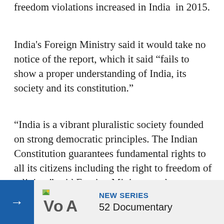freedom violations increased in India  in 2015.
India's Foreign Ministry said it would take no notice of the report, which it said "fails to show a proper understanding of India, its society and its constitution."
"India is a vibrant pluralistic society founded on strong democratic principles. The Indian Constitution guarantees fundamental rights to all its citizens including the right to freedom of religion," said Foreign Ministry spokesman Vikas Swarup.
The USCIRF report had said India's minority communities, especially Christians, Muslims, and Sikhs, experienced numerous incidents of intimidation, h... hands of Hind...
[Figure (logo): VOA (Voice of America) logo with NEW SERIES and 52 Documentary banner]